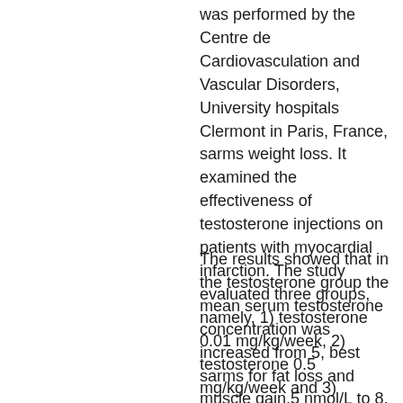was performed by the Centre de Cardiovasculation and Vascular Disorders, University hospitals Clermont in Paris, France, sarms weight loss. It examined the effectiveness of testosterone injections on patients with myocardial infarction. The study evaluated three groups, namely, 1) testosterone 0.01 mg/kg/week, 2) testosterone 0.5 mg/kg/week and 3) placebo injection (n = 29) compared with one group (n = 23) receiving placebo only.
The results showed that in the testosterone group the mean serum testosterone concentration was increased from 5, best sarms for fat loss and muscle gain.5 nmol/L to 8, best sarms for fat loss and muscle gain.3 nmol/L, whereas in the placebo group serum testosterone concentration was decreased from 11...